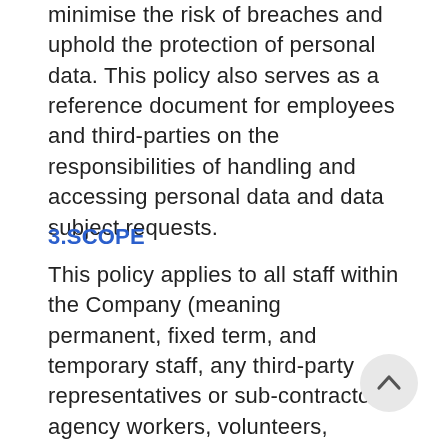minimise the risk of breaches and uphold the protection of personal data. This policy also serves as a reference document for employees and third-parties on the responsibilities of handling and accessing personal data and data subject requests.
3.SCOPE
This policy applies to all staff within the Company (meaning permanent, fixed term, and temporary staff, any third-party representatives or sub-contractors, agency workers, volunteers, interns and agents engaged with the Company in the UK or oversea Adherence to this policy is mandatory and non-compliance